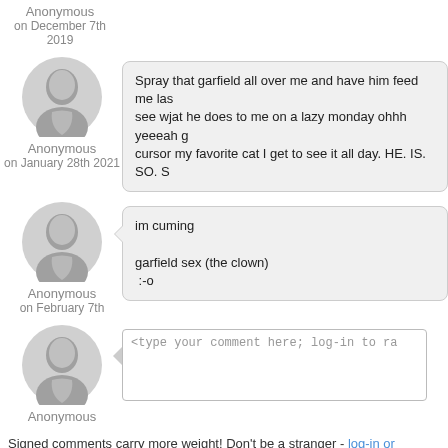Anonymous
on December 7th 2019
Spray that garfield all over me and have him feed me las... see wjat he does to me on a lazy monday ohhh yeeeah g... cursor my favorite cat I get to see it all day. HE. IS. SO. S...
Anonymous
on January 28th 2021
im cuming

garfield sex (the clown)
:-o
Anonymous
on February 7th
<type your comment here; log-in to ra...
Anonymous
Signed comments carry more weight! Don't be a stranger - log-in or register. It onl...
Cursors